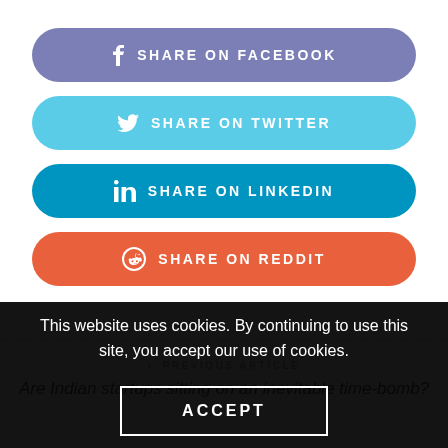[Figure (other): Share on Facebook button — rounded rectangle, muted blue-purple (#7b7fb5), Facebook 'f' icon, text 'SHARE ON FACEBOOK']
[Figure (other): Share on Twitter button — rounded rectangle, light blue (#5bcce8), Twitter bird icon, text 'SHARE ON TWITTER']
[Figure (other): Share on LinkedIn button — rounded rectangle, medium blue (#0095c0), LinkedIn 'in' icon, text 'SHARE ON LINKEDIN']
[Figure (other): Share on Reddit button — rounded rectangle, orange (#e8603c), Reddit alien circle icon, text 'SHARE ON REDDIT']
< PREVIOUS ARTICLE
Are Indian startups sitting on an inevitable time-bomb?
This website uses cookies. By continuing to use this site, you accept our use of cookies.
ACCEPT